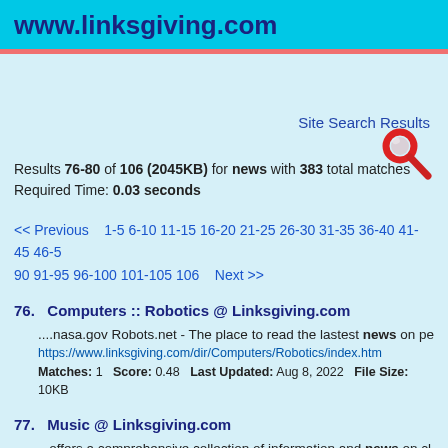www.linksgiving.com
[Figure (illustration): Red magnifying glass search icon]
Site Search Results
Results 76-80 of 106 (2045KB) for news with 383 total matches
Required Time: 0.03 seconds
<< Previous    1-5 6-10 11-15 16-20 21-25 26-30 31-35 36-40 41-45 46-50 51-55 56-60 61-65 66-70 71-75 76-80 81-85 86-90 91-95 96-100 101-105 106    Next >>
76.   Computers :: Robotics @ Linksgiving.com
....nasa.gov Robots.net - The place to read the lastest news on pe
https://www.linksgiving.com/dir/Computers/Robotics/index.htm
Matches: 1   Score: 0.48   Last Updated: Aug 8, 2022   File Size: 10KB
77.   Music @ Linksgiving.com
...offers a comprehensive collection of information and news on cl
https://www.linksgiving.com/dir/Music/index.htm